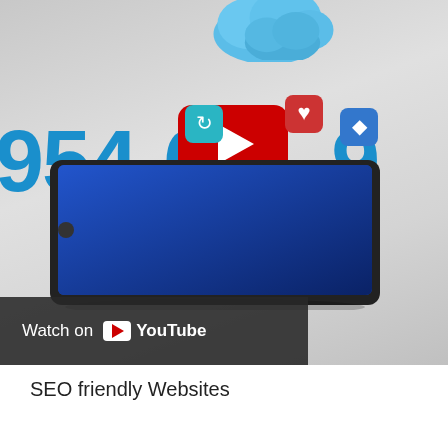[Figure (screenshot): YouTube video thumbnail showing a tablet with app icons floating from a cloud above it, with a large phone number '954-600-9...' in blue text overlaid. A red YouTube play button appears in the center. A 'Watch on YouTube' bar appears at the bottom left of the thumbnail.]
SEO friendly Websites